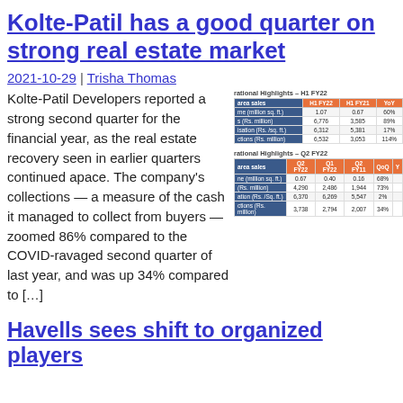Kolte-Patil has a good quarter on strong real estate market
2021-10-29 | Trisha Thomas
Kolte-Patil Developers reported a strong second quarter for the financial year, as the real estate recovery seen in earlier quarters continued apace. The company's collections — a measure of the cash it managed to collect from buyers — zoomed 86% compared to the COVID-ravaged second quarter of last year, and was up 34% compared to […]
[Figure (table-as-image): Operational Highlights – H1 FY22 table with area sales metrics for H1 FY22, H1 FY21, and YoY columns]
[Figure (table-as-image): Operational Highlights – Q2 FY22 table with area sales metrics for Q2 FY22, Q1 FY22, Q2 FY21, QoQ and YoY columns]
Havells sees shift to organized players